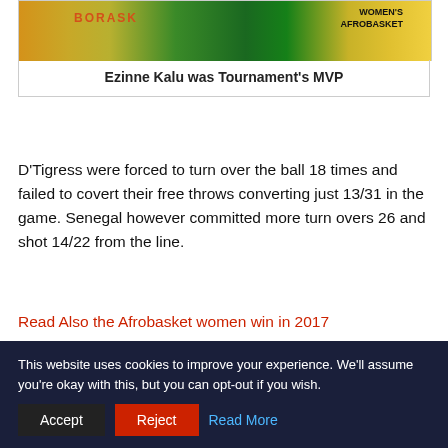[Figure (photo): Photo of a basketball player in green uniform with Afrobasket tournament branding in background]
Ezinne Kalu was Tournament's MVP
D'Tigress were forced to turn over the ball 18 times and failed to covert their free throws converting just 13/31 in the game. Senegal however committed more turn overs 26 and shot 14/22 from the line.
Read Also the Afrobasket women win in 2017
While Nigeria tried to get back in the lead late on, Senegal tied the game thrice in the last 3 minutes of the game.
With 47 seconds remaining, the D'Tigress shot 3 of 6 from the free throw. Despite a second foul throw miss by Evelyn Akhator
This website uses cookies to improve your experience. We'll assume you're okay with this, but you can opt-out if you wish.